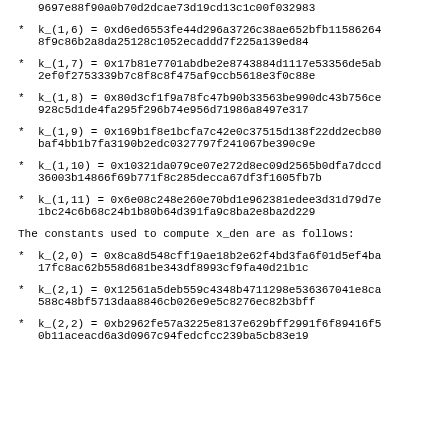k_(1,6) = 0xd6ed6553fe44d296a3726c38ae652bfb11586264 8f9c86b2a8da25128c1052ecaddd7f225a139ed84
k_(1,7) = 0x17b81e7701abdbe2e8743884d1117e53356de5ab 2ef0f2753339b7c8f8c8f475af9ccb5618e3f0c88e
k_(1,8) = 0x80d3cf1f9a78fc47b90b33563be990dc43b756ce 928c5d1de4fa295f296b74e956d71986a8497e317
k_(1,9) = 0x169b1f8e1bcfa7c42e0c37515d138f22dd2ecb80 baf4bb1b7fa3190b2edc0327797f241067be390c9e
k_(1,10) = 0x10321da079ce07e272d8ec09d2565b0dfa7dccd 36003b14866f69b771f8c285decca67df3f1605fb7b
k_(1,11) = 0x6e08c248e260e70bd1e962381edee3d31d79d7e 1bc24c6b68c24b1b80b64d391fa9c8ba2e8ba2d229
The constants used to compute x_den are as follows:
k_(2,0) = 0x8ca8d548cff19ae18b2e62f4bd3fa6f01d5ef4ba 17fc8ac62b558d681be343df8993cf9fa40d21b1c
k_(2,1) = 0x12561a5deb559c4348b4711298e536367041e8ca 588c48bf5713daa8846cb026e9e5c8276ec82b3bff
k_(2,2) = 0xb2962fe57a3225e8137e629bff2991f6f89416f5 0b11aceacd6a3d0967c94fedcfcc239ba5cb83e19